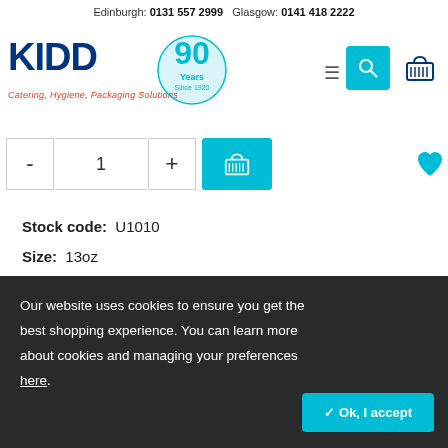Edinburgh: 0131 557 2999  Glasgow: 0141 418 2222
[Figure (logo): KIDD logo with '90 Years Since 1920' badge and tagline 'Catering, Hygiene, Packaging Solutions']
[Figure (other): Quantity selector with minus, 1, plus buttons and teal add-to-cart basket button; teal heart/wishlist icon on right]
Stock code: U1010
Size: 13oz
Brand: Chef & Sommelier
Material: Kwarx
FREE local delivery
Our website uses cookies to ensure you get the best shopping experience. You can learn more about cookies and managing your preferences here.